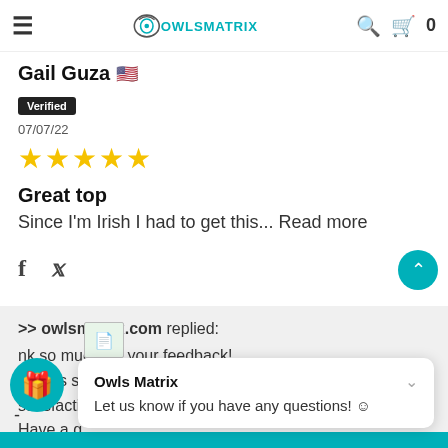≡  OWLSMATRIX  🔍 🛒 0
Gail Guza 🇺🇸
Verified
07/07/22
[Figure (other): 5 gold star rating]
Great top
Since I'm Irish I had to get this... Read more
[Figure (other): Facebook and Twitter social share icons]
>> owlsmatrix.com replied: nk so much for your feedback! always strive to achieve your satisfaction Have a g
Owls Matrix
Let us know if you have any questions! 😊